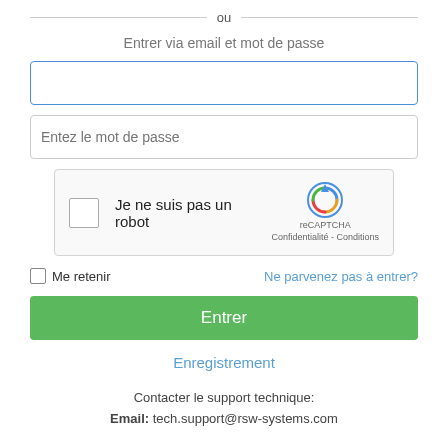ou
Entrer via email et mot de passe
[Figure (screenshot): Empty email input field with blue border]
[Figure (screenshot): Password input field with placeholder text 'Entez le mot de passe']
[Figure (screenshot): reCAPTCHA widget showing checkbox and 'Je ne suis pas un robot' text with reCAPTCHA logo and 'Confidentialité - Conditions' link]
Me retenir
Ne parvenez pas à entrer?
Entrer
Enregistrement
Contacter le support technique:
Email: tech.support@rsw-systems.com